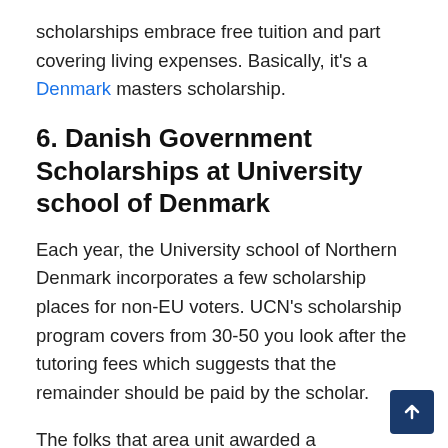scholarships embrace free tuition and part covering living expenses. Basically, it's a Denmark masters scholarship.
6. Danish Government Scholarships at University school of Denmark
Each year, the University school of Northern Denmark incorporates a few scholarship places for non-EU voters. UCN's scholarship program covers from 30-50 you look after the tutoring fees which suggests that the remainder should be paid by the scholar.
The folks that area unit awarded a scholarship from UCN might underneath bound